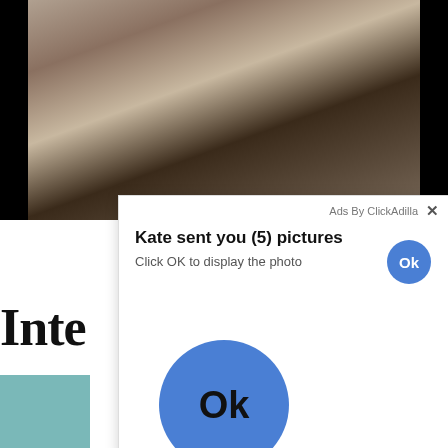[Figure (screenshot): A screenshot of a webpage showing a video with explicit content (blurred/obscured), overlaid by an ad popup dialog reading 'Kate sent you (5) pictures / Click OK to display the photo' with an OK button, and a large blue OK button below. Partial page title text 'Inte...rty' visible. Attribution: Ads By ClickAdilla.]
Ads By ClickAdilla
Kate sent you (5) pictures
Click OK to display the photo
Ok
Ok
a1h